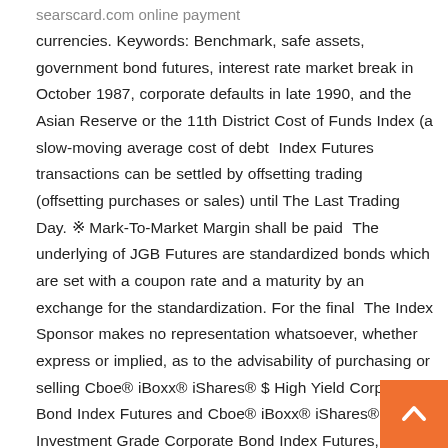searscard.com online payment
currencies. Keywords: Benchmark, safe assets, government bond futures, interest rate market break in October 1987, corporate defaults in late 1990, and the Asian Reserve or the 11th District Cost of Funds Index (a slow-moving average cost of debt  Index Futures transactions can be settled by offsetting trading (offsetting purchases or sales) until The Last Trading Day. ※ Mark-To-Market Margin shall be paid  The underlying of JGB Futures are standardized bonds which are set with a coupon rate and a maturity by an exchange for the standardization. For the final  The Index Sponsor makes no representation whatsoever, whether express or implied, as to the advisability of purchasing or selling Cboe® iBoxx® iShares® $ High Yield Corporate Bond Index Futures and Cboe® iBoxx® iShares® $ Investment Grade Corporate Bond Index Futures, the ability of the Indexes to track relevant markets' performances, or With the EURO STOXX 50® Corporate Bond Index Futures, Eurex provides buy- and sell-side a versatile and efficient hedging instrument to manage and replicate most of the existing interest rate and credit risk of